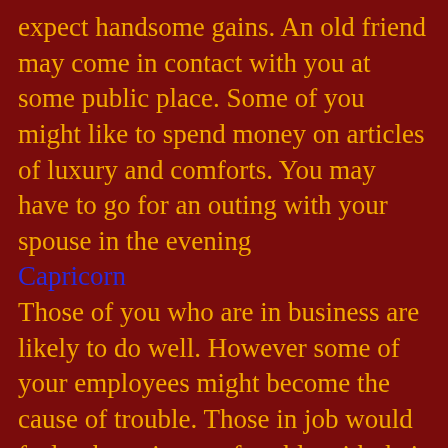expect handsome gains. An old friend may come in contact with you at some public place. Some of you might like to spend money on articles of luxury and comforts. You may have to go for an outing with your spouse in the evening
Capricorn
Those of you who are in business are likely to do well. However some of your employees might become the cause of trouble. Those in job would feel to be quite comfortable with their job work. Parents may have friendly interactions with their children. Family situations will be peaceful